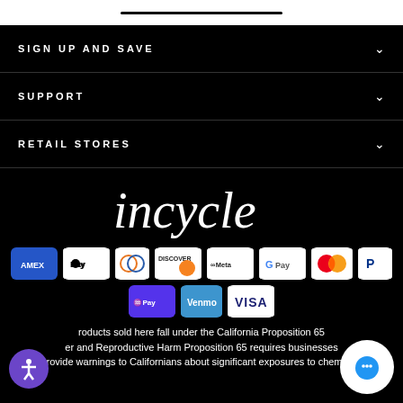SIGN UP AND SAVE
SUPPORT
RETAIL STORES
[Figure (logo): incycle brand logo in white italic script font on black background]
[Figure (infographic): Payment method icons: American Express, Apple Pay, Diners Club, Discover, Meta Pay, Google Pay, Mastercard, PayPal, Shop Pay, Venmo, Visa]
roducts sold here fall under the California Proposition 65 er and Reproductive Harm Proposition 65 requires businesses provide warnings to Californians about significant exposures to chemicals